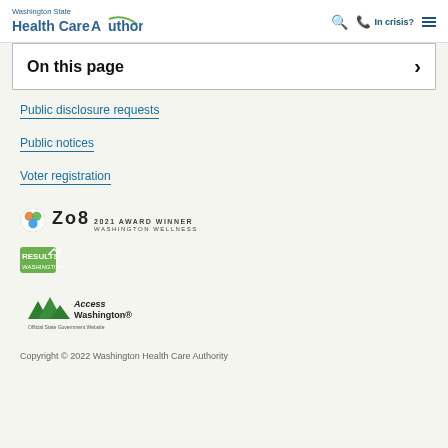Washington State Health Care Authority — header with search, In crisis?, and menu icons
On this page
Public disclosure requests
Public notices
Voter registration
[Figure (logo): Zo8 2021 Award Winner Washington Wellness logo]
[Figure (logo): Results Washington logo]
[Figure (logo): Access Washington Official State Government Website logo]
Copyright © 2022 Washington Health Care Authority